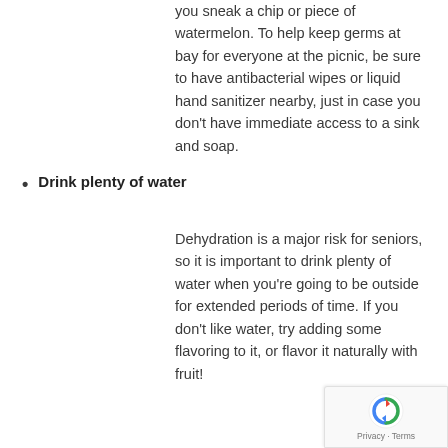you sneak a chip or piece of watermelon. To help keep germs at bay for everyone at the picnic, be sure to have antibacterial wipes or liquid hand sanitizer nearby, just in case you don't have immediate access to a sink and soap.
Drink plenty of water
Dehydration is a major risk for seniors, so it is important to drink plenty of water when you're going to be outside for extended periods of time. If you don't like water, try adding some flavoring to it, or flavor it naturally with fruit!